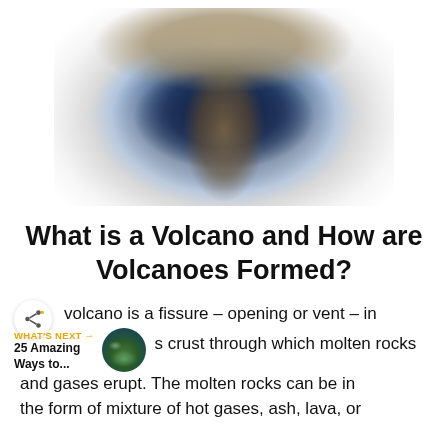[Figure (photo): Aerial/satellite view of a volcanic eruption, showing a large mushroom-shaped ash plume rising from a dark volcanic vent surrounded by white clouds, photographed from above.]
What is a Volcano and How are Volcanoes Formed?
A volcano is a fissure – opening or vent – in the Earth's crust through which molten rocks and gases erupt. The molten rocks can be in the form of mixture of hot gases, ash, lava, or